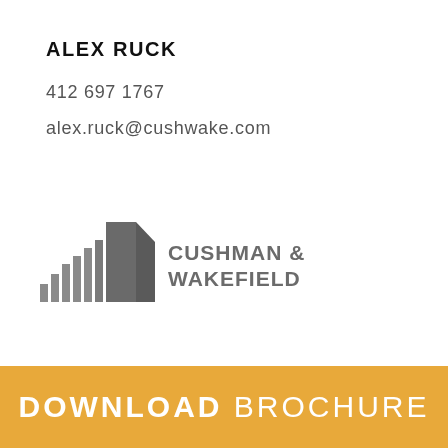ALEX RUCK
412 697 1767
alex.ruck@cushwake.com
[Figure (logo): Cushman & Wakefield logo with stylized building icon in grey and text CUSHMAN & WAKEFIELD]
DOWNLOAD BROCHURE